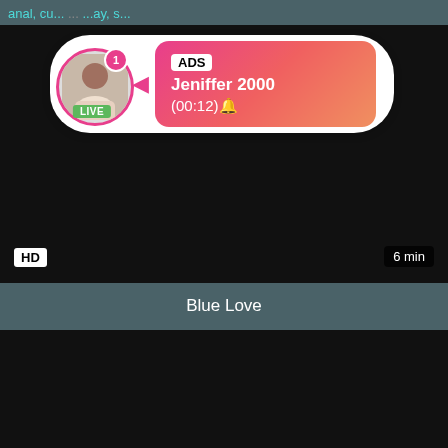anal, cu... [tags truncated] ...ay, s...
[Figure (screenshot): Black video player thumbnail with HD badge bottom-left and 6 min badge bottom-right, overlaid with an ad notification showing a LIVE avatar of Jeniffer 2000 with ADS label and timer (00:12)]
Blue Love
[Figure (screenshot): Second black video player thumbnail]